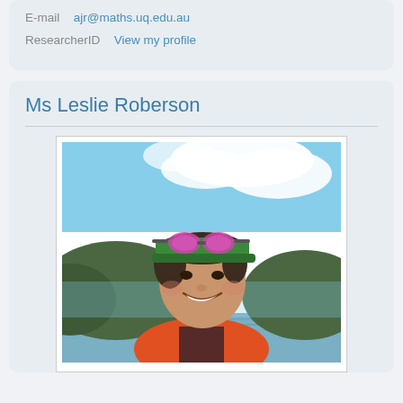E-mail  ajr@maths.uq.edu.au
ResearcherID  View my profile
Ms Leslie Roberson
[Figure (photo): Profile photo of Ms Leslie Roberson outdoors on water, wearing a green cap with pink/purple mirrored sunglasses on top, and an orange life vest, smiling at camera with hills and blue sky in background.]